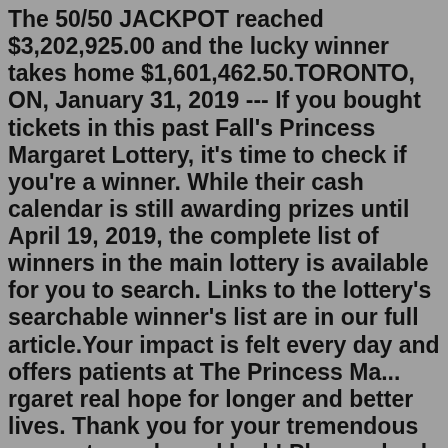The 50/50 JACKPOT reached $3,202,925.00 and the lucky winner takes home $1,601,462.50.TORONTO, ON, January 31, 2019 --- If you bought tickets in this past Fall's Princess Margaret Lottery, it's time to check if you're a winner. While their cash calendar is still awarding prizes until April 19, 2019, the complete list of winners in the main lottery is available for you to search. Links to the lottery's searchable winner's list are in our full article.Your impact is felt every day and offers patients at The Princess Ma... rgaret real hope for longer and better lives. Thank you for your tremendous support – and good luck! Please check the lottery website on Thursday, December 9th for a complete list of all 40,833 prize winners. 🎰 See more Apr 28, 2022 · The Princess Margaret Cancer Foundation is pleased to announce the top prize winners in the Spring 2022 Princess Margaret Home Lottery. All prize draws have now been completed. $8.3 MILLION GRAND PRIZE King City Showhome + Muskoka Lakefront Cottage + $500,000 CASH. CONGRATULATIONS TO ALL WINNERS